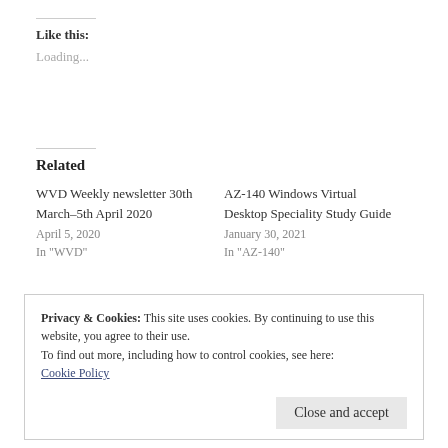Like this:
Loading...
Related
WVD Weekly newsletter 30th March–5th April 2020
April 5, 2020
In "WVD"
AZ-140 Windows Virtual Desktop Speciality Study Guide
January 30, 2021
In "AZ-140"
Privacy & Cookies: This site uses cookies. By continuing to use this website, you agree to their use.
To find out more, including how to control cookies, see here:
Cookie Policy